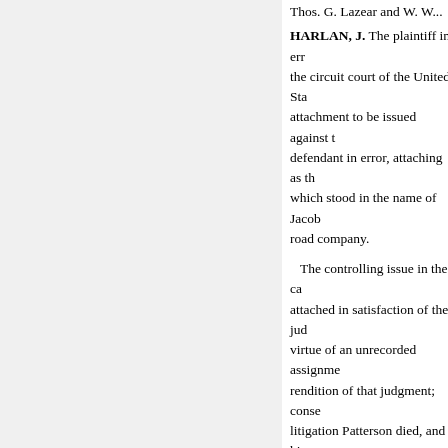Thos. G. Lazear and W. W...
HARLAN, J. The plaintiff in error... the circuit court of the United Sta... attachment to be issued against t... defendant in error, attaching as t... which stood in the name of Jacob... road company.
The controlling issue in the ca... attached in satisfaction of the jud... virtue of an unrecorded assignme... rendition of that judgment; conse... litigation Patterson died, and his... contention on the part of the ban... preferred creditors, and that it mu... judgment creditors; that of Jacob... certain liabilities of the debtor, a...
, the part of either himself or P... Jacobus, a witness in his own bel... place between him and Patterson... The administrator was also perm... occasion of the assignment—tha...
« Sebelumnya